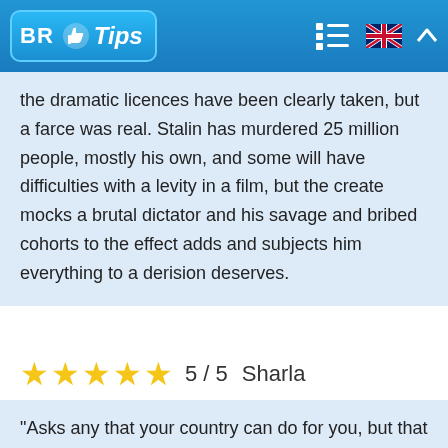BR Tips
the dramatic licences have been clearly taken, but a farce was real. Stalin has murdered 25 million people, mostly his own, and some will have difficulties with a levity in a film, but the create mocks a brutal dictator and his savage and bribed cohorts to the effect adds and subjects him everything to a derision deserves.
5 / 5   Sharla
“Asks any that your country can do for you, but that can do it for your country” JFK quaintly there is asking about to the time. No like this is a Soviet